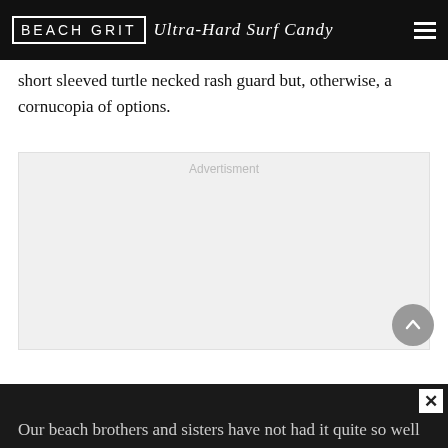BEACH GRIT Ultra-Hard Surf Candy
short sleeved turtle necked rash guard but, otherwise, a cornucopia of options.
[Figure (other): Advertisement placeholder box with light grey background and 'Advertisment' label in light grey text]
Our beach brothers and sisters have not had it quite so well